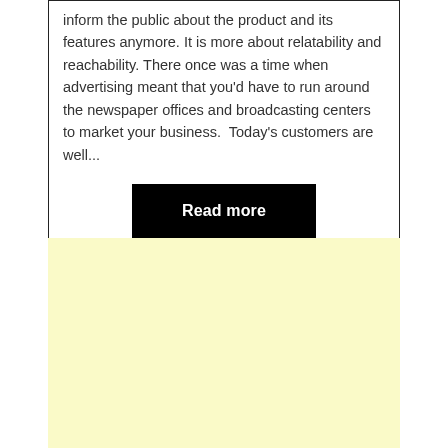inform the public about the product and its features anymore. It is more about relatability and reachability. There once was a time when advertising meant that you'd have to run around the newspaper offices and broadcasting centers to market your business.  Today's customers are well...
Read more
[Figure (other): Light yellow advertisement block, empty content area]